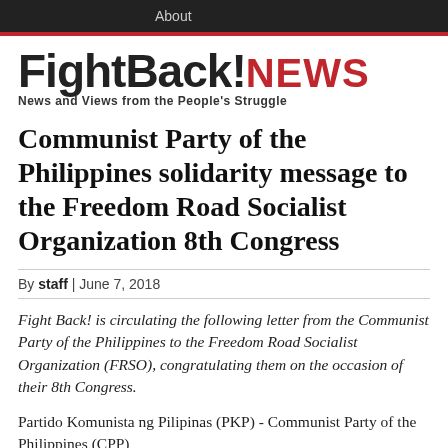About
FightBack!NEWS
News and Views from the People's Struggle
Communist Party of the Philippines solidarity message to the Freedom Road Socialist Organization 8th Congress
By staff | June 7, 2018
Fight Back! is circulating the following letter from the Communist Party of the Philippines to the Freedom Road Socialist Organization (FRSO), congratulating them on the occasion of their 8th Congress.
Partido Komunista ng Pilipinas (PKP) - Communist Party of the Philippines (CPP)
Message of solidarity to the Freedom Road Socialist